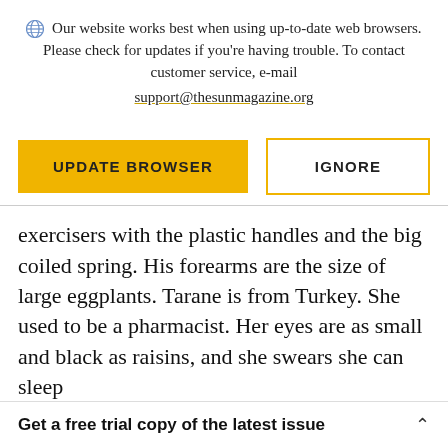Our website works best when using up-to-date web browsers. Please check for updates if you're having trouble. To contact customer service, e-mail support@thesunmagazine.org
[Figure (other): Two buttons: a filled yellow 'UPDATE BROWSER' button and an outlined yellow 'IGNORE' button]
exercisers with the plastic handles and the big coiled spring. His forearms are the size of large eggplants. Tarane is from Turkey. She used to be a pharmacist. Her eyes are as small and black as raisins, and she swears she can sleep
Get a free trial copy of the latest issue